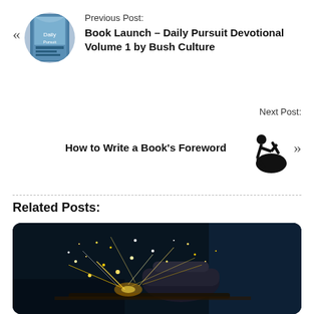Previous Post:
Book Launch – Daily Pursuit Devotional Volume 1 by Bush Culture
Next Post:
How to Write a Book's Foreword
Related Posts:
[Figure (photo): Person grinding metal with angle grinder producing bright sparks, dark background]